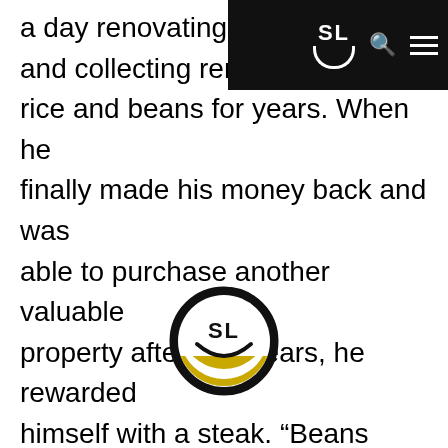[Figure (logo): SL smiley face logo navigation bar with search icon and hamburger menu on black background]
a day renovating, serving h and collecting rent. He ate rice and beans for years. When he finally made his money back and was able to purchase another valuable property after 20+ years, he rewarded himself with a steak. “Beans now, steak later” is good motivation for living within your means and coming out way on top later on.
Linden’s Book Rating: 8/10. Check it out.
Here he is on Ko conversation:
[Figure (logo): SL smiley face circle logo in black and gold/yellow]